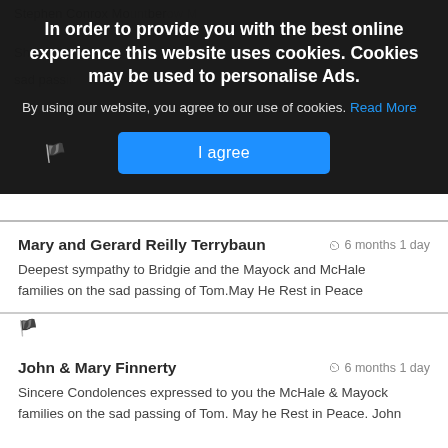In order to provide you with the best online experience this website uses cookies. Cookies may be used to personalise Ads.
By using our website, you agree to our use of cookies. Read More
I agree
Mary and Gerard Reilly Terrybaun  ⏱ 6 months 1 day
Deepest sympathy to Bridgie and the Mayock and McHale families on the sad passing of Tom.May He Rest in Peace
John & Mary Finnerty  ⏱ 6 months 1 day
Sincere Condolences expressed to you the McHale & Mayock families on the sad passing of Tom. May he Rest in Peace. John